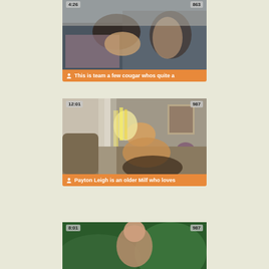[Figure (photo): Video thumbnail showing two people, duration 4:26, views 863]
This is team a few cougar whos quite a
[Figure (photo): Video thumbnail showing a person on a couch, duration 12:01, views 987]
Payton Leigh is an older Milf who loves
[Figure (photo): Video thumbnail partial, duration 8:01, views 987]